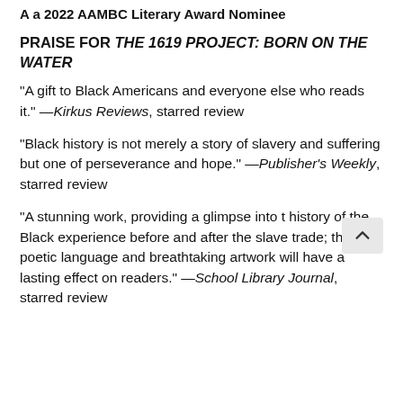A a 2022 AAMBC Literary Award Nominee
PRAISE FOR THE 1619 PROJECT: BORN ON THE WATER
"A gift to Black Americans and everyone else who reads it." —Kirkus Reviews, starred review
"Black history is not merely a story of slavery and suffering but one of perseverance and hope." —Publisher's Weekly, starred review
"A stunning work, providing a glimpse into t history of the Black experience before and after the slave trade; the poetic language and breathtaking artwork will have a lasting effect on readers." —School Library Journal, starred review